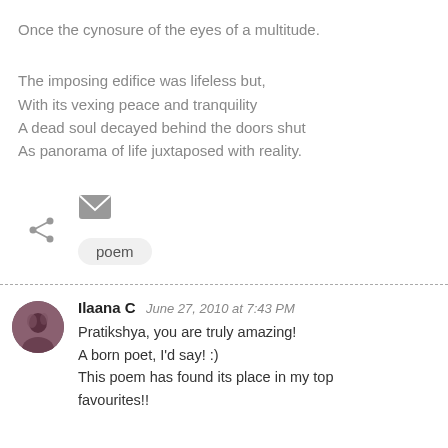Once the cynosure of the eyes of a multitude.
The imposing edifice was lifeless but,
With its vexing peace and tranquility
A dead soul decayed behind the doors shut
As panorama of life juxtaposed with reality.
[Figure (other): Email/share icons and a 'poem' tag pill button]
Ilaana C  June 27, 2010 at 7:43 PM
Pratikshya, you are truly amazing!
A born poet, I'd say! :)
This poem has found its place in my top favourites!!